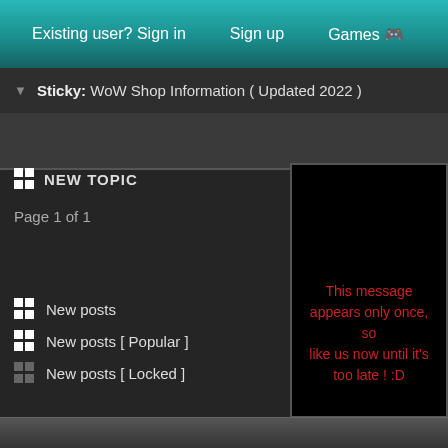Existing user? Sign in | Sign up | Games | Servers
Sticky: WoW Shop Information ( Updated 2022 )
NEW TOPIC
Page 1 of 1
New posts
New posts [ Popular ]
New posts [ Locked ]
The time now is 22-08-20
Copyright info
This message appears only once, so like us now until it's too late ! :D